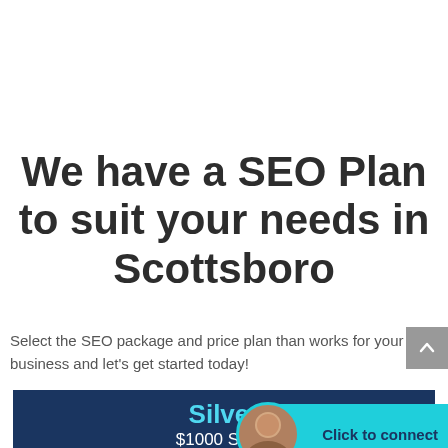We have a SEO Plan to suit your needs in Scottsboro
Select the SEO package and price plan than works for your business and let's get started today!
Silver
$1000 Setup
Click to connect